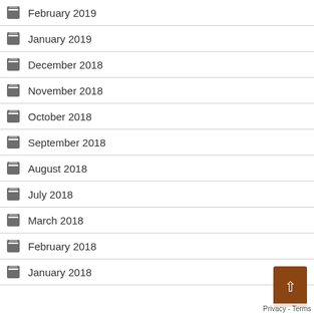February 2019
January 2019
December 2018
November 2018
October 2018
September 2018
August 2018
July 2018
March 2018
February 2018
January 2018